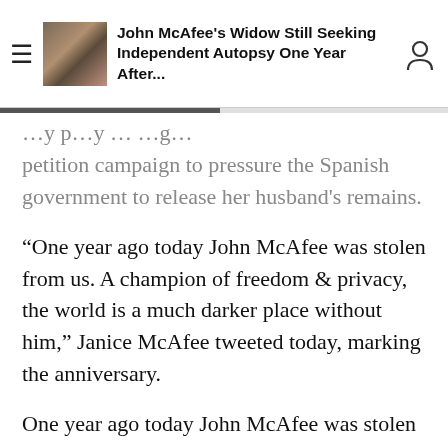John McAfee's Widow Still Seeking Independent Autopsy One Year After...
...y p...y ... ...g... petition campaign to pressure the Spanish government to release her husband's remains.
"One year ago today John McAfee was stolen from us. A champion of freedom & privacy, the world is a much darker place without him," Janice McAfee tweeted today, marking the anniversary.
One year ago today John McAfee was stolen from us. A champion of freedom & privacy, the world is a much darker place without him.#JohnMcAfeeDidNotKillHimself #GoneButNEVERForgotten #LegendsNeverDie